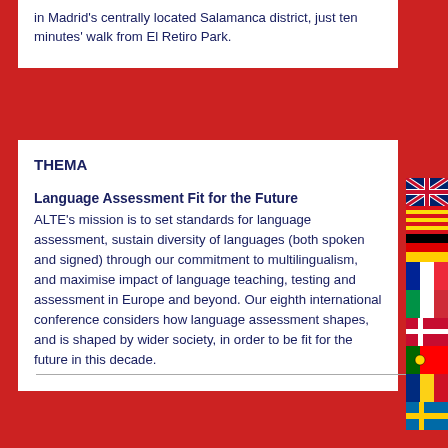in Madrid's centrally located Salamanca district, just ten minutes' walk from El Retiro Park.
THEMA
Language Assessment Fit for the Future
ALTE's mission is to set standards for language assessment, sustain diversity of languages (both spoken and signed) through our commitment to multilingualism, and maximise impact of language teaching, testing and assessment in Europe and beyond. Our eighth international conference considers how language assessment shapes, and is shaped by wider society, in order to be fit for the future in this decade.